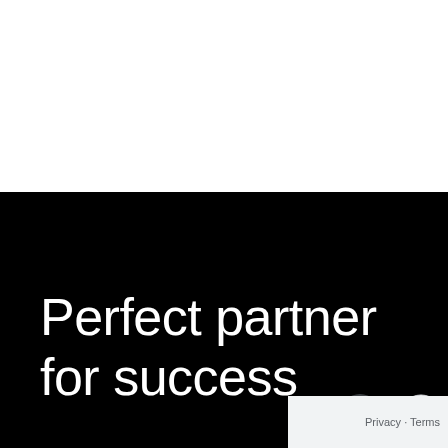[Figure (photo): White upper half of the page, likely a webpage screenshot with white background area]
Perfect partner for success
[Figure (screenshot): UI overlay at bottom right showing a scroll-to-top button, reCAPTCHA icon, and Privacy - Terms text]